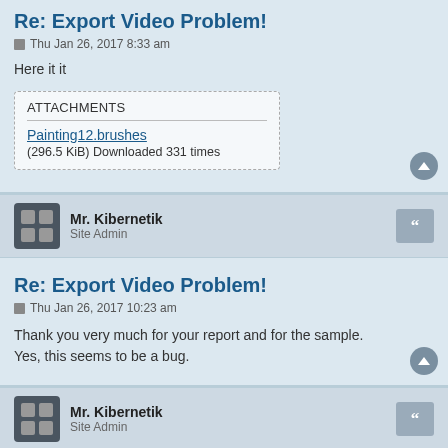Re: Export Video Problem!
Thu Jan 26, 2017 8:33 am
Here it it
ATTACHMENTS
Painting12.brushes
(296.5 KiB) Downloaded 331 times
Mr. Kibernetik
Site Admin
Re: Export Video Problem!
Thu Jan 26, 2017 10:23 am
Thank you very much for your report and for the sample.
Yes, this seems to be a bug.
Mr. Kibernetik
Site Admin
Re: Export Video Problem!